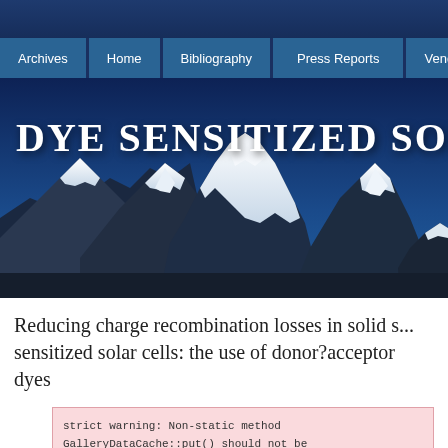DYE SENSITIZED SOLAR
[Figure (photo): Snow-capped mountain peaks against a deep blue sky, used as a hero background image for a website about dye sensitized solar cells.]
Reducing charge recombination losses in solid s... sensitized solar cells: the use of donor?acceptor dyes
strict warning: Non-static method GalleryDataCache::put() should not be in /home/tamileli/domains/tamilelibrary.org/public_html/gallery2/embed.ph strict warning: Non-static method GalleryDataCache::_getCache() should...